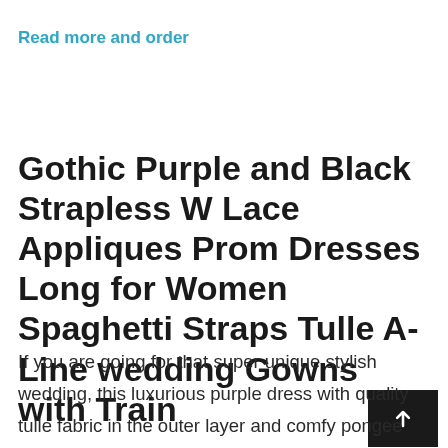Read more and order
Gothic Purple and Black Strapless W Lace Appliques Prom Dresses Long for Women Spaghetti Straps Tulle A-Line wedding Gowns with Train
If you are going for that super unique stylish wedding, this luxurious purple dress with quality tulle fabric in the outer layer and comfy pongee lining and not see through, light, and flowy